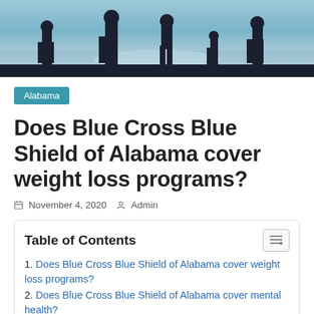[Figure (photo): Silhouette of people standing near water at dusk/dawn, beach or shoreline setting with light sky background]
Alabama
Does Blue Cross Blue Shield of Alabama cover weight loss programs?
November 4, 2020  Admin
Table of Contents
1. Does Blue Cross Blue Shield of Alabama cover weight loss programs?
2. Does Blue Cross Blue Shield of Alabama cover mental health?
3. Can 26 year old go on Cobra?
4. How long can a 26 year old stay on Cobra?